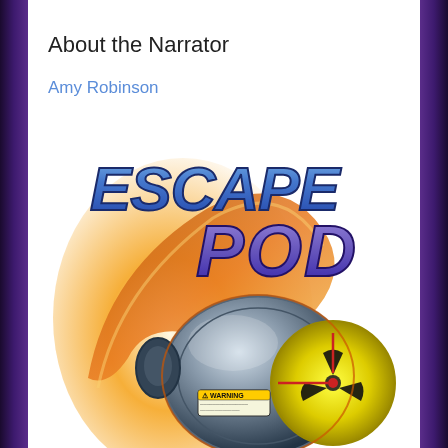About the Narrator
Amy Robinson
[Figure (logo): Escape Pod podcast logo featuring stylized 3D text 'ESCAPE POD' in blue/purple metallic letters over an orange swoosh background with a metallic sci-fi escape pod capsule with yellow radiation symbol markings and a WARNING label sticker]